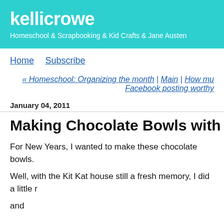kellicrowe
Homeschool & Scrapbooking & Kid Crafts & Jane Austen
Home    Subscribe
« Homeschool: Organizing the month | Main | How mu... Facebook posting worthy
January 04, 2011
Making Chocolate Bowls with balloons
For New Years, I wanted to make these chocolate bowls.
Well, with the Kit Kat house still a fresh memory, I did a little r
and